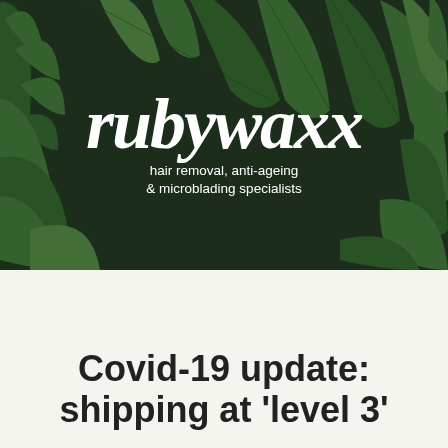[Figure (logo): Rubywaxx logo with tropical leaf background. White handwritten-style text reads 'rubywaxx' with subtitle 'hair removal, anti-ageing & microblading specialists' on dark green tropical palm leaf background.]
Menu
Covid-19 update: shipping at 'level 3'